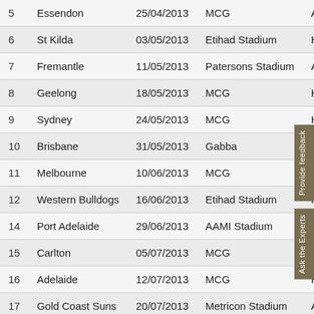| Round | Opponent | Date | Venue |  |
| --- | --- | --- | --- | --- |
| 5 | Essendon | 25/04/2013 | MCG | A |
| 6 | St Kilda | 03/05/2013 | Etihad Stadium | H |
| 7 | Fremantle | 11/05/2013 | Patersons Stadium | A |
| 8 | Geelong | 18/05/2013 | MCG | H |
| 9 | Sydney | 24/05/2013 | MCG | H |
| 10 | Brisbane | 31/05/2013 | Gabba |  |
| 11 | Melbourne | 10/06/2013 | MCG | H |
| 12 | Western Bulldogs | 16/06/2013 | Etihad Stadium | H |
| 14 | Port Adelaide | 29/06/2013 | AAMI Stadium | A |
| 15 | Carlton | 05/07/2013 | MCG | H |
| 16 | Adelaide | 12/07/2013 | MCG | H |
| 17 | Gold Coast Suns | 20/07/2013 | Metricon Stadium | A |